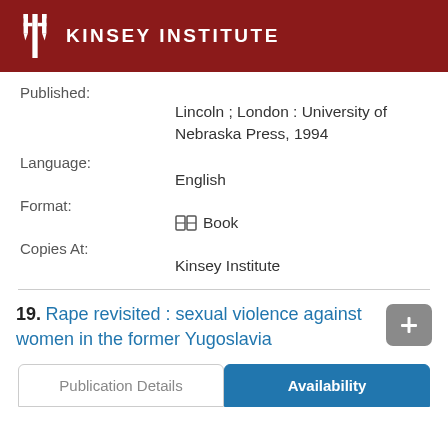KINSEY INSTITUTE
Published:
Lincoln ; London : University of Nebraska Press, 1994
Language:
English
Format:
Book
Copies At:
Kinsey Institute
19. Rape revisited : sexual violence against women in the former Yugoslavia
Publication Details	Availability